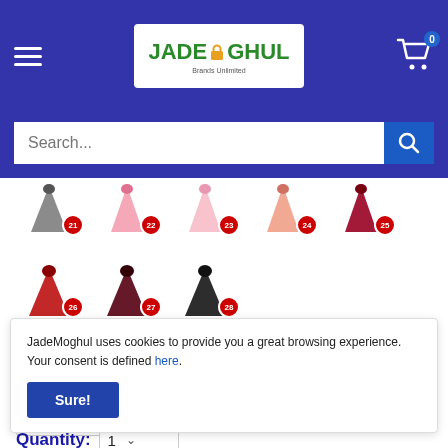[Figure (screenshot): JadeMoghul website header with logo, hamburger menu, and cart icon showing 0 items]
[Figure (screenshot): Search bar with placeholder text 'Search...' and blue search button]
[Figure (screenshot): Row 1 of color swatch options numbered 21-25 showing hair piece variants in gray, pink, light pink, salmon, and dark red]
[Figure (screenshot): Row 2 of color swatch options numbered 26-28 showing hair piece variants in red, dark red/maroon, and black]
Size: 15
[Figure (screenshot): Size dropdown selector showing value 15 with down arrow]
JadeMoghul uses cookies to provide you a great browsing experience. Your consent is defined here.
Sure!
Quantity: 1